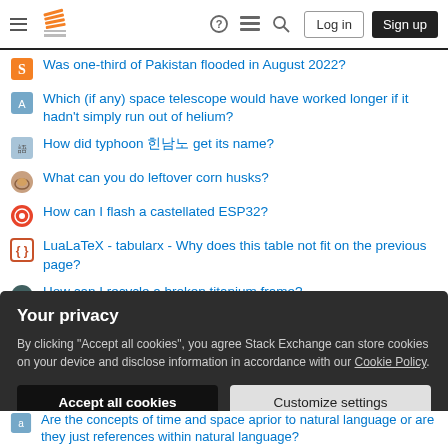Stack Exchange navigation bar with hamburger menu, logo, help, chat, search icons, Log in and Sign up buttons
Was one-third of Pakistan flooded in August 2022?
Which (if any) space telescope would have worked longer if it hadn't simply run out of helium?
How did typhoon 힌남노 get its name?
What can you do leftover corn husks?
How can I flash a castellated ESP32?
LuaLaTeX - tabularx - Why does this table not fit on the previous page?
How can I recycle a broken titanium frame?
Bolometric correction of the full moon
Your privacy — By clicking "Accept all cookies", you agree Stack Exchange can store cookies on your device and disclose information in accordance with our Cookie Policy.
Are the concepts of time and space aprior to natural language or are they just references within natural language?